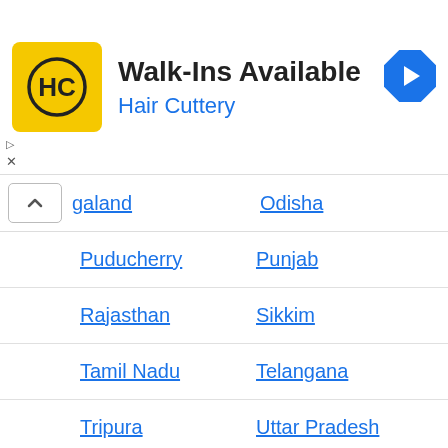[Figure (logo): Hair Cuttery ad banner with HC logo, 'Walk-Ins Available' title and blue navigation icon]
Nagaland
Odisha
Puducherry
Punjab
Rajasthan
Sikkim
Tamil Nadu
Telangana
Tripura
Uttar Pradesh
Uttarakhand
West Bengal